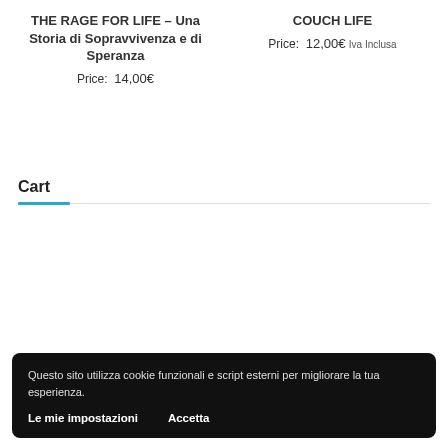THE RAGE FOR LIFE – Una Storia di Sopravvivenza e di Speranza
Price: 14,00€
COUCH LIFE
Price: 12,00€ Iva Inclusa
Cart
Questo sito utilizza cookie funzionali e script esterni per migliorare la tua esperienza.
Le mie impostazioni    Accetta